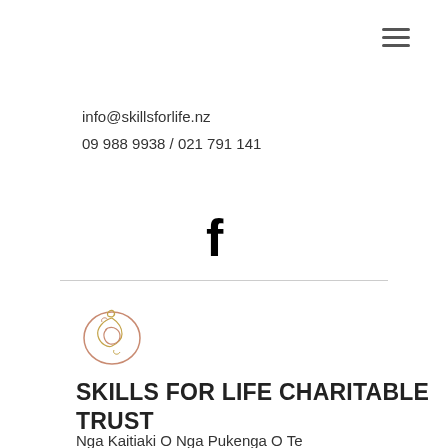[Figure (other): Hamburger menu icon (three horizontal lines) in top-right corner]
info@skillsforlife.nz
09 988 9938 / 021 791 141
[Figure (logo): Facebook 'f' icon in bold black]
[Figure (logo): Skills for Life Charitable Trust circular logo mark with stylized koru/heart design in pink and gold]
SKILLS FOR LIFE CHARITABLE TRUST
Nga Kaitiaki O Nga Pukenga O Te